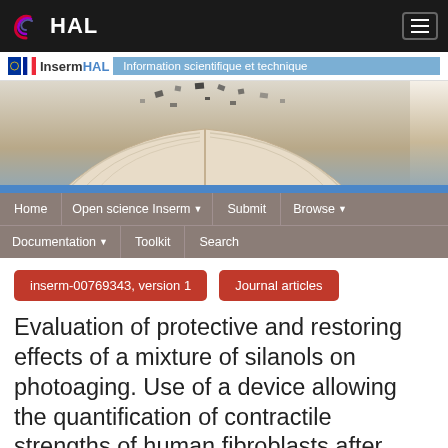HAL
[Figure (screenshot): Inserm HAL repository banner with open book image and navigation menu including Home, Open science Inserm, Submit, Browse, Documentation, Toolkit, Search]
inserm-00769343, version 1
Journal articles
Evaluation of protective and restoring effects of a mixture of silanols on photoaging. Use of a device allowing the quantification of contractile strengths of human fibroblasts after UVA irradiation.